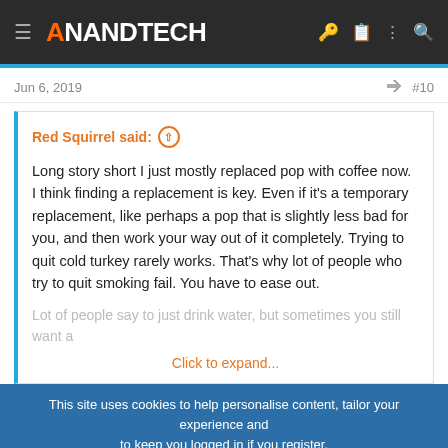AnandTech
Jun 6, 2019  #10
Red Squirrel said: ↑

Long story short I just mostly replaced pop with coffee now. I think finding a replacement is key. Even if it's a temporary replacement, like perhaps a pop that is slightly less bad for you, and then work your way out of it completely. Trying to quit cold turkey rarely works. That's why lot of people who try to quit smoking fail. You have to ease out.

Lot of people say to just drink water, but sometimes you still want a

Click to expand...
This site uses cookies to help personalise content, tailor your experience and to keep you logged in if you register.
By continuing to use this site, you are consenting to our use of cookies.
$5 20oz Smoothies 'til 11am